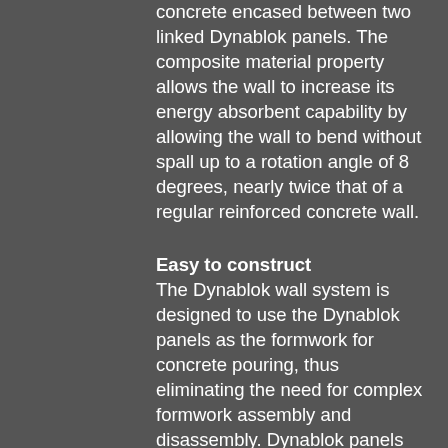concrete encased between two linked Dynablok panels. The composite material property allows the wall to increase its energy absorbent capability by allowing the wall to bend without spall up to a rotation angle of 8 degrees, nearly twice that of a regular reinforced concrete wall.
Easy to construct
The Dynablok wall system is designed to use the Dynablok panels as the formwork for concrete pouring, thus eliminating the need for complex formwork assembly and disassembly. Dynablok panels are designed with an interlocking mechanism and connectors which enable speed and ease of construction in theatre.